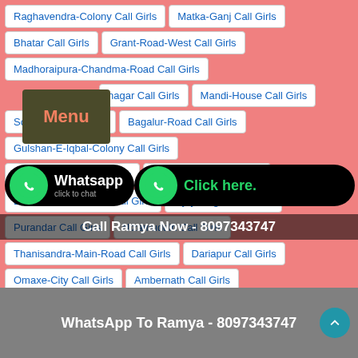Raghavendra-Colony Call Girls
Matka-Ganj Call Girls
Bhatar Call Girls
Grant-Road-West Call Girls
Madhoraipura-Chandma-Road Call Girls
nagar Call Girls
Mandi-House Call Girls
South-City Call Girls
Bagalur-Road Call Girls
Gulshan-E-Iqbal-Colony Call Girls
Ghatkopar-East Call Girls
Poddar-Nagar Call Girls
Dwarka-Sector-16-B Call Girls
Vijayanagar Call Girls
Purandar Call Girls
Nizamuddin Call Girls
Thanisandra-Main-Road Call Girls
Dariapur Call Girls
Omaxe-City Call Girls
Ambernath Call Girls
Nahan Call Girls
Shaheed-Path Call Girls
Chittoor Call Girls
Whatsapp click to chat
Click here.
Call Ramya Now - 8097343747
WhatsApp To Ramya - 8097343747